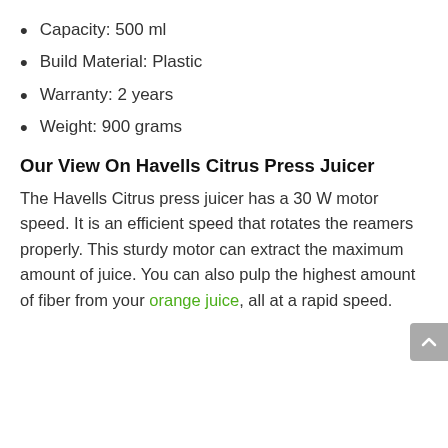Capacity: 500 ml
Build Material: Plastic
Warranty: 2 years
Weight: 900 grams
Our View On Havells Citrus Press Juicer
The Havells Citrus press juicer has a 30 W motor speed. It is an efficient speed that rotates the reamers properly. This sturdy motor can extract the maximum amount of juice. You can also pulp the highest amount of fiber from your orange juice, all at a rapid speed.